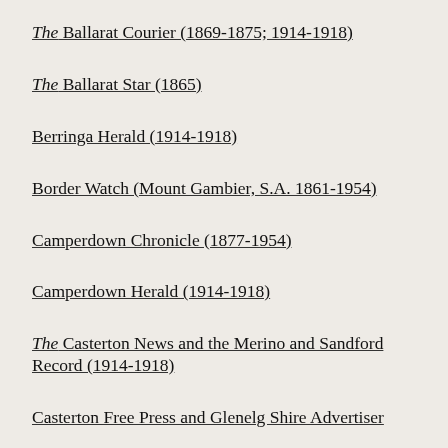The Ballarat Courier (1869-1875; 1914-1918)
The Ballarat Star (1865)
Berringa Herald (1914-1918)
Border Watch (Mount Gambier, S.A. 1861-1954)
Camperdown Chronicle (1877-1954)
Camperdown Herald (1914-1918)
The Casterton News and the Merino and Sandford Record (1914-1918)
Casterton Free Press and Glenelg Shire Advertiser